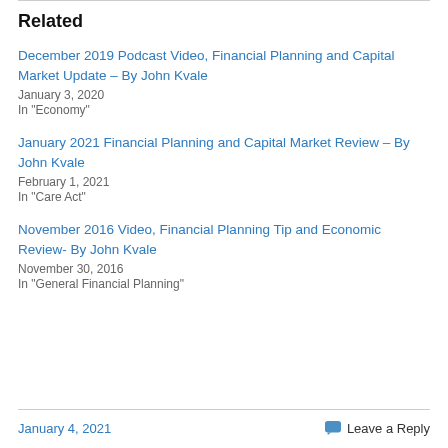Related
December 2019 Podcast Video, Financial Planning and Capital Market Update – By John Kvale
January 3, 2020
In "Economy"
January 2021 Financial Planning and Capital Market Review – By John Kvale
February 1, 2021
In "Care Act"
November 2016 Video, Financial Planning Tip and Economic Review- By John Kvale
November 30, 2016
In "General Financial Planning"
January 4, 2021   Leave a Reply